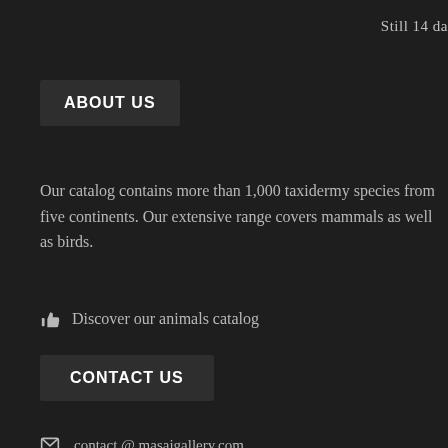Still 14 da
ABOUT US
Our catalog contains more than 1,000 taxidermy species from five continents. Our extensive range covers mammals as well as birds.
👍 Discover our animals catalog
CONTACT US
✉ contact @ masaigallery.com
📞 +32 (0) 43 55 14 00
📍 Contact form